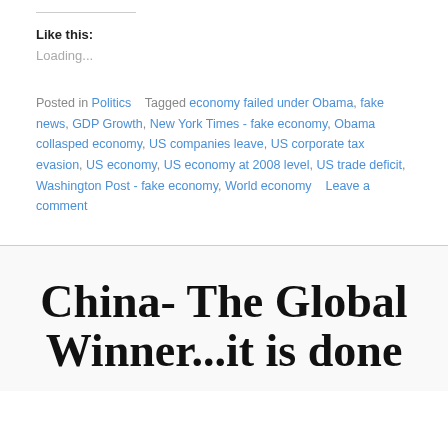Like this:
Loading...
Posted in Politics   Tagged economy failed under Obama, fake news, GDP Growth, New York Times - fake economy, Obama collasped economy, US companies leave, US corporate tax evasion, US economy, US economy at 2008 level, US trade deficit, Washington Post - fake economy, World economy   Leave a comment
China- The Global Winner...it is done